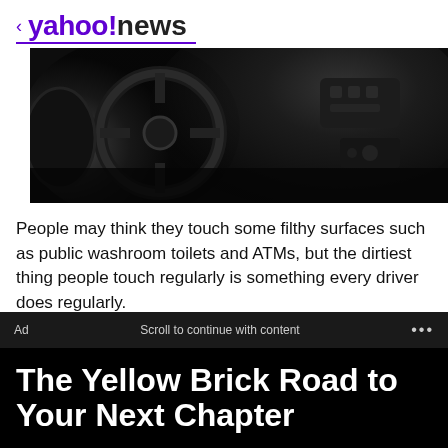< yahoo!news
[Figure (photo): Close-up black and white photo of a car steering wheel and dashboard controls, dark toned]
People may think they touch some filthy surfaces such as public washroom toilets and ATMs, but the dirtiest thing people touch regularly is something every driver does regularly.
A new study by Kimberly-Clark Professional finds that gas pump handles contain the most germs.
Ad    Scroll to continue with content    ...
The Yellow Brick Road to Your Next Chapter